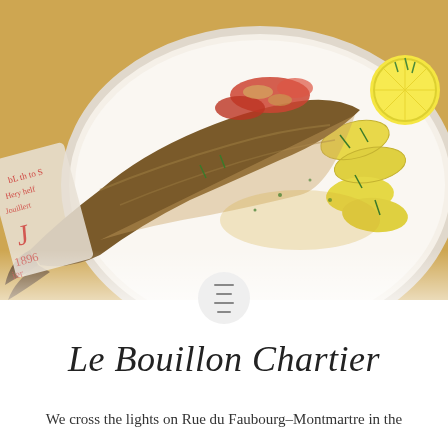[Figure (photo): Close-up food photo of a whole roasted fish on a white plate, topped with chopped tomatoes and herbs (chives), served with boiled yellow potatoes and a lemon slice, on a warm beige/golden background. A wrapped paper item is visible on the left side of the plate.]
Le Bouillon Chartier
We cross the lights on Rue du Faubourg-Montmartre in the